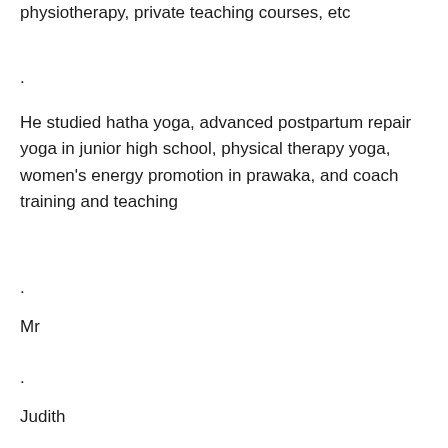physiotherapy, private teaching courses, etc
.
He studied hatha yoga, advanced postpartum repair yoga in junior high school, physical therapy yoga, women's energy promotion in prawaka, and coach training and teaching
.
Mr
.
Judith